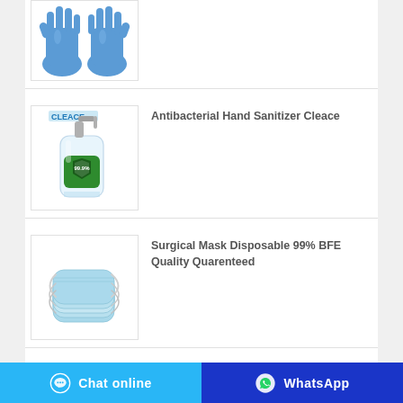[Figure (photo): Blue nitrile gloves product photo, partially visible at top]
[Figure (photo): Cleace antibacterial hand sanitizer bottle with pump, clear bottle with green label]
Antibacterial Hand Sanitizer Cleace
[Figure (photo): Stack of light blue disposable surgical face masks]
Surgical Mask Disposable 99% BFE Quality Quarenteed
Chat online   WhatsApp